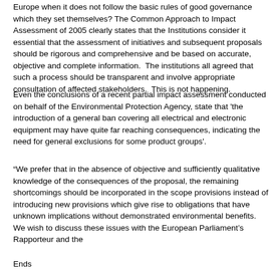Europe when it does not follow the basic rules of good governance which they set themselves? The Common Approach to Impact Assessment of 2005 clearly states that the Institutions consider it essential that the assessment of initiatives and subsequent proposals should be rigorous and comprehensive and be based on accurate, objective and complete information. The institutions all agreed that such a process should be transparent and involve appropriate consultation of affected stakeholders. This is not happening.
Even the conclusions of a recent partial impact assessment conducted on behalf of the Environmental Protection Agency, state that 'the introduction of a general ban covering all electrical and electronic equipment may have quite far reaching consequences, indicating the need for general exclusions for some product groups'.
“We prefer that in the absence of objective and sufficiently qualitative knowledge of the consequences of the proposal, the remaining shortcomings should be incorporated in the scope provisions instead of introducing new provisions which give rise to obligations that have unknown implications without demonstrated environmental benefits. We wish to discuss these issues with the European Parliament’s Rapporteur and the
Ends